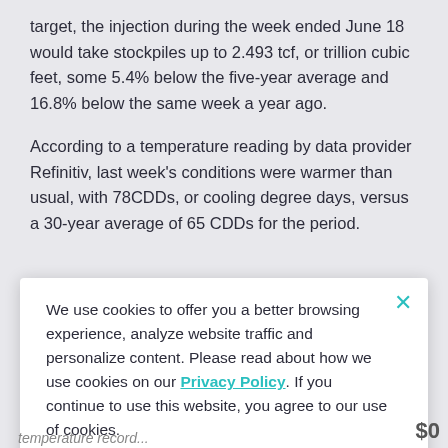target, the injection during the week ended June 18 would take stockpiles up to 2.493 tcf, or trillion cubic feet, some 5.4% below the five-year average and 16.8% below the same week a year ago.
According to a temperature reading by data provider Refinitiv, last week's conditions were warmer than usual, with 78CDDs, or cooling degree days, versus a 30-year average of 65 CDDs for the period.
Extreme Heat Driving Up Air-
We use cookies to offer you a better browsing experience, analyze website traffic and personalize content. Please read about how we use cookies on our Privacy Policy. If you continue to use this website, you agree to our use of cookies.
temperature record...